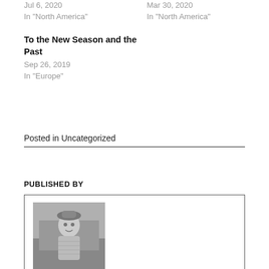Jul 6, 2020
In "North America"
Mar 30, 2020
In "North America"
To the New Season and the Past
Sep 26, 2019
In "Europe"
Posted in Uncategorized
PUBLISHED BY
[Figure (photo): Black and white photo of a young girl]
ARUNDHATI BASU
The great affair in my life is to travel, I count